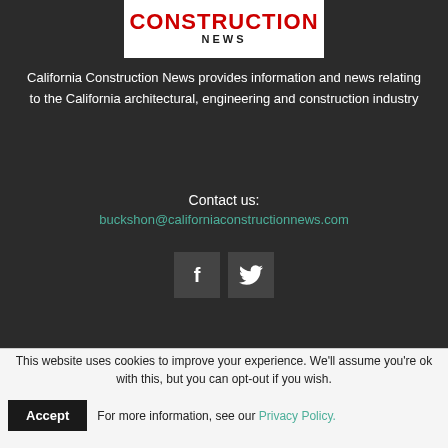[Figure (logo): California Construction News logo — red bold 'CONSTRUCTION' text above black bold 'NEWS' text on white background]
California Construction News provides information and news relating to the California architectural, engineering and construction industry
Contact us:
buckshon@californiaconstructionnews.com
[Figure (other): Social media icons: Facebook (f) and Twitter (bird) buttons in dark square boxes]
This website uses cookies to improve your experience. We'll assume you're ok with this, but you can opt-out if you wish.
Accept  For more information, see our Privacy Policy.